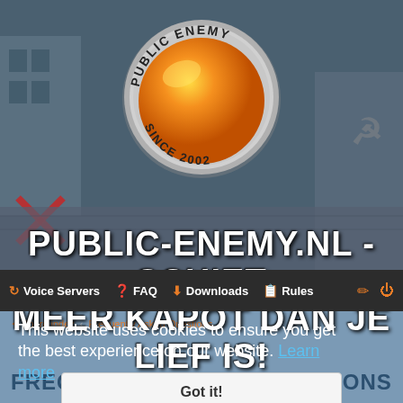[Figure (screenshot): Hero banner with gaming background image showing war-themed scenery with buildings and Soviet-era imagery, teal/dark tone]
[Figure (logo): Public Enemy logo: circular badge with orange glossy ball, text 'PUBLIC ENEMY' on top arc and 'SINCE 2002' on bottom arc, grey metallic ring]
PUBLIC-ENEMY.NL - SCHIET MEER KAPOT DAN JE LIEF IS!
Voice Servers  FAQ  Downloads  Rules
Board index < Frequently Asked Questions
This website uses cookies to ensure you get the best experience on our website. Learn more
FREQUENTLY ASKED QUESTIONS
Got it!
Login and Registration Issues
Why do I need to register?
What is COPPA?
Why can't I register?